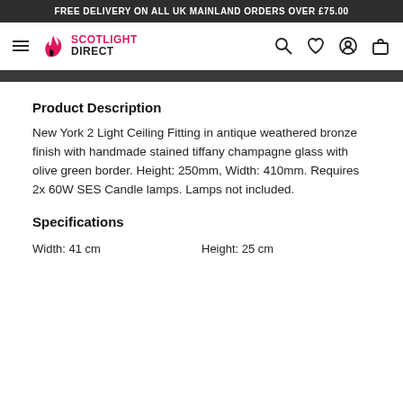FREE DELIVERY ON ALL UK MAINLAND ORDERS OVER £75.00
[Figure (logo): Scotlight Direct logo with flame icon and navigation bar including hamburger menu, search, heart, account, and cart icons]
Product Description
New York 2 Light Ceiling Fitting in antique weathered bronze finish with handmade stained tiffany champagne glass with olive green border. Height: 250mm, Width: 410mm. Requires 2x 60W SES Candle lamps. Lamps not included.
Specifications
Width: 41 cm    Height: 25 cm